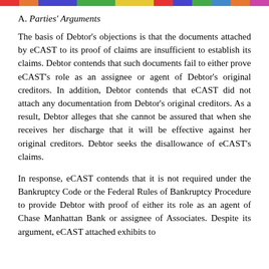A. Parties' Arguments
The basis of Debtor's objections is that the documents attached by eCAST to its proof of claims are insufficient to establish its claims. Debtor contends that such documents fail to either prove eCAST's role as an assignee or agent of Debtor's original creditors. In addition, Debtor contends that eCAST did not attach any documentation from Debtor's original creditors. As a result, Debtor alleges that she cannot be assured that when she receives her discharge that it will be effective against her original creditors. Debtor seeks the disallowance of eCAST's claims.
In response, eCAST contends that it is not required under the Bankruptcy Code or the Federal Rules of Bankruptcy Procedure to provide Debtor with proof of either its role as an agent of Chase Manhattan Bank or assignee of Associates. Despite its argument, eCAST attached exhibits to